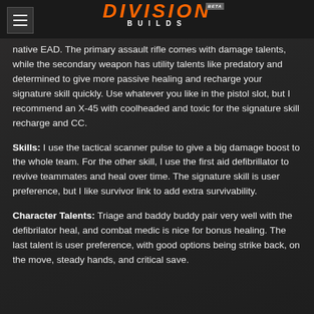DIVISION BUILDS BETA
native EAD. The primary assault rifle comes with damage talents, while the secondary weapon has utility talents like predatory and determined to give more passive healing and recharge your signature skill quickly. Use whatever you like in the pistol slot, but I recommend an X-45 with coolheaded and toxic for the signature skill recharge and CC.
Skills: I use the tactical scanner pulse to give a big damage boost to the whole team. For the other skill, I use the first aid defibrillator to revive teammates and heal over time. The signature skill is user preference, but I like survivor link to add extra survivability.
Character Talents: Triage and baddy buddy pair very well with the defibrilator heal, and combat medic is nice for bonus healing. The last talent is user preference, with good options being strike back, on the move, steady hands, and critical save.